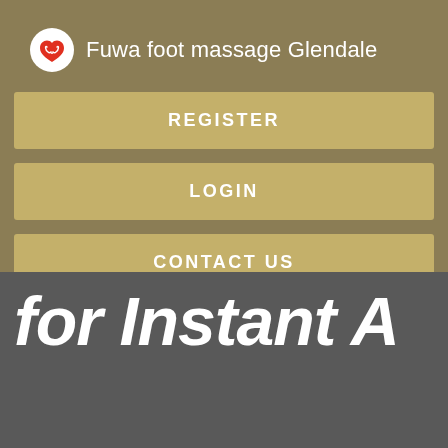Fuwa foot massage Glendale
[Figure (screenshot): App navigation menu with logo icon, title, and three buttons: REGISTER, LOGIN, CONTACT US, over a tan/khaki background]
REGISTER
LOGIN
CONTACT US
for Instant A